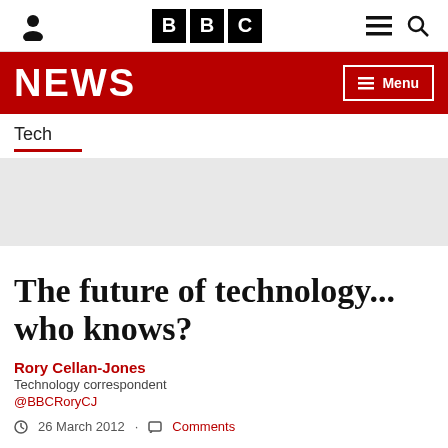BBC NEWS
Tech
[Figure (photo): Grey placeholder image area for article photo]
The future of technology... who knows?
Rory Cellan-Jones
Technology correspondent
@BBCRoryCJ
26 March 2012 · Comments